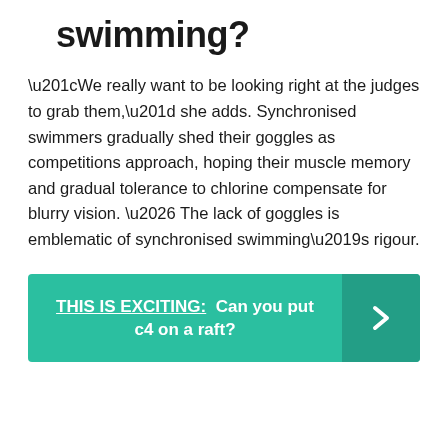swimming?
“We really want to be looking right at the judges to grab them,” she adds. Synchronised swimmers gradually shed their goggles as competitions approach, hoping their muscle memory and gradual tolerance to chlorine compensate for blurry vision. … The lack of goggles is emblematic of synchronised swimming’s rigour.
THIS IS EXCITING: Can you put c4 on a raft?